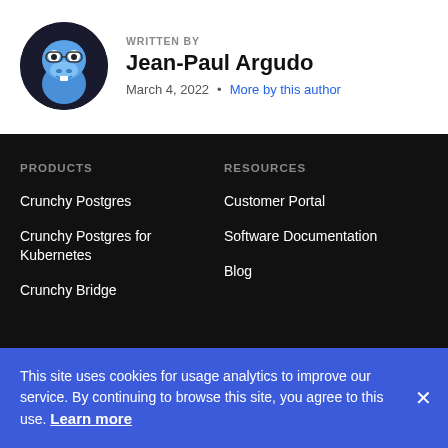[Figure (illustration): Circular avatar of a cartoon blue hippo character with glasses]
WRITTEN BY
Jean-Paul Argudo
March 4, 2022  •  More by this author
PRODUCTS
RESOURCES
Crunchy Postgres
Customer Portal
Crunchy Postgres for Kubernetes
Software Documentation
Blog
Crunchy Bridge
This site uses cookies for usage analytics to improve our service. By continuing to browse this site, you agree to this use. Learn more